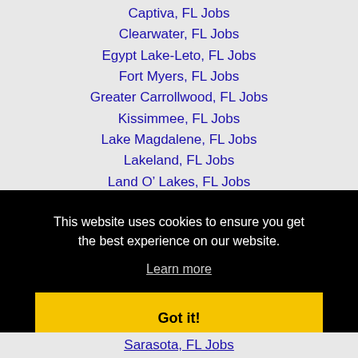Captiva, FL Jobs
Clearwater, FL Jobs
Egypt Lake-Leto, FL Jobs
Fort Myers, FL Jobs
Greater Carrollwood, FL Jobs
Kissimmee, FL Jobs
Lake Magdalene, FL Jobs
Lakeland, FL Jobs
Land O' Lakes, FL Jobs
Largo, FL Jobs
This website uses cookies to ensure you get the best experience on our website.
Learn more
Got it!
Sarasota, FL Jobs